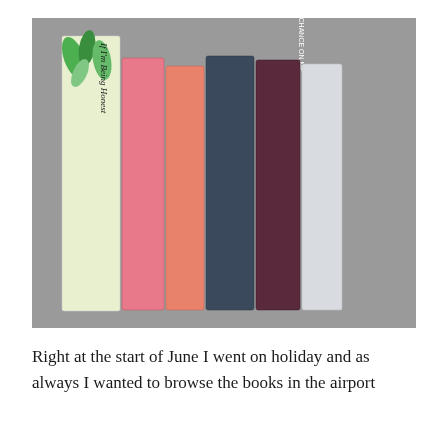[Figure (photo): A photograph of seven books lying flat with their spines facing up on a grey surface. The books from left to right are: 'If I'm Being Honest' (with a tropical leaf cover), 'Take a Chance on Me' by Beth Garrod (pink spine), 'Five Feet Apart' by Rachael Lippincott (pink/coral spine), 'The Hunger Games' by Suzanne Collins (dark teal spine), 'Catching Fire' by Suzanne Collins (dark purple/maroon spine), and 'Mockingjay' by Suzanne Collins (light grey/white spine).]
Right at the start of June I went on holiday and as always I wanted to browse the books in the airport